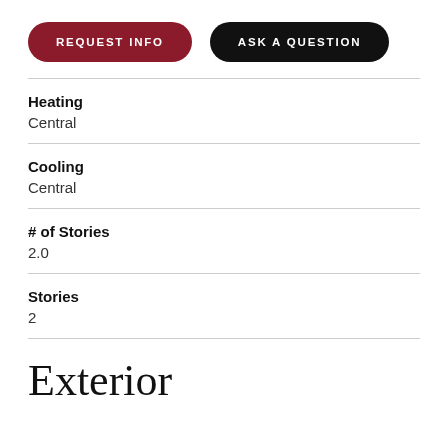REQUEST INFO
ASK A QUESTION
Heating
Central
Cooling
Central
# of Stories
2.0
Stories
2
Exterior